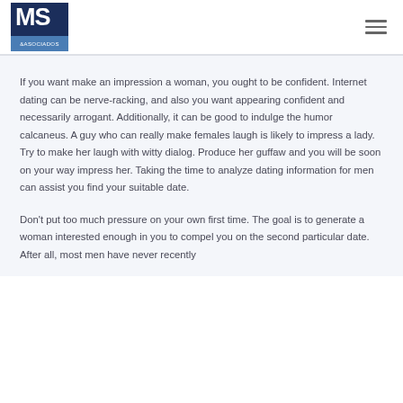[Figure (logo): MS & Asociados logo — dark navy square with white 'MS' lettering and a blue band at the bottom reading '&ASOCIADOS']
If you want make an impression a woman, you ought to be confident. Internet dating can be nerve-racking, and also you want appearing confident and necessarily arrogant. Additionally, it can be good to indulge the humor calcaneus. A guy who can really make females laugh is likely to impress a lady. Try to make her laugh with witty dialog. Produce her guffaw and you will be soon on your way impress her. Taking the time to analyze dating information for men can assist you find your suitable date.
Don't put too much pressure on your own first time. The goal is to generate a woman interested enough in you to compel you on the second particular date. After all, most men have never recently